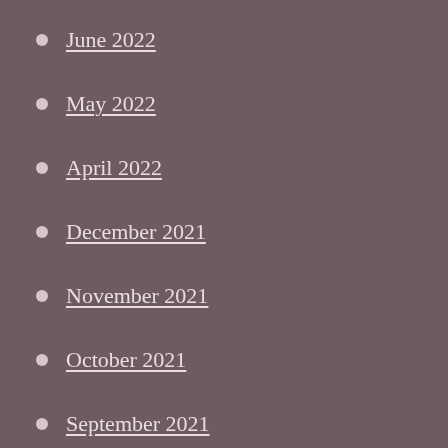June 2022
May 2022
April 2022
December 2021
November 2021
October 2021
September 2021
August 2021
July 2021
May 2021
April 2021
December 2020
September 2020
July 2020
June 2020
May 2020
April 2020